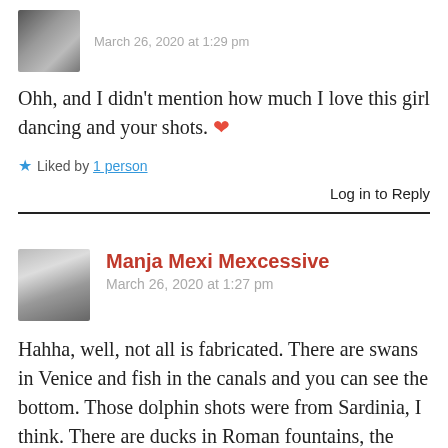March 26, 2020 at 1:29 pm
Ohh, and I didn't mention how much I love this girl dancing and your shots. ❤
Liked by 1 person
Log in to Reply
Manja Mexi Mexcessive
March 26, 2020 at 1:27 pm
Hahha, well, not all is fabricated. There are swans in Venice and fish in the canals and you can see the bottom. Those dolphin shots were from Sardinia, I think. There are ducks in Roman fountains, the boar in Italian towns (they were there before), and I'm half expecting a pack of wolves to pay me a visit one of these days.  If I believe anything is that for nature